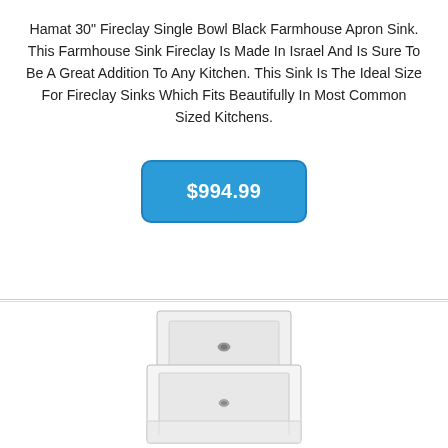Hamat 30" Fireclay Single Bowl Black Farmhouse Apron Sink. This Farmhouse Sink Fireclay Is Made In Israel And Is Sure To Be A Great Addition To Any Kitchen. This Sink Is The Ideal Size For Fireclay Sinks Which Fits Beautifully In Most Common Sized Kitchens.
$994.99
[Figure (photo): White fireclay farmhouse apron sink shown from above at a slight angle, displaying the single bowl with a drain visible, and the flat apron front.]